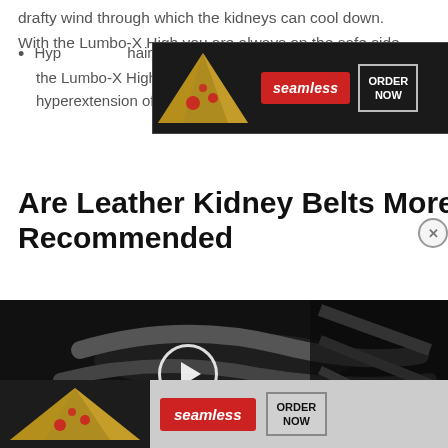drafty wind through which the kidneys can cool down.
With the Lumbo-X High you are always on the safe side.
[Figure (other): Seamless food delivery advertisement banner with pizza image, seamless red button, and ORDER NOW button]
Hyp... hain, the Lumbo-X High additionally protects against hyperextension of the lumbar spine.
Are Leather Kidney Belts More Recommended
[Figure (other): Close button X circle top right]
[Figure (photo): Dark video player showing leather kidney belt product with play button and CLOSE button overlay]
[Figure (other): Seamless food delivery advertisement banner at bottom with pizza image, seamless red button, and ORDER NOW button]